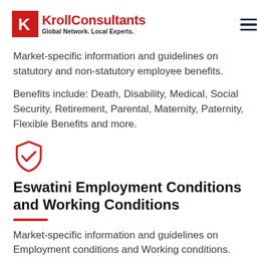KrollConsultants — Global Network. Local Experts.
Market-specific information and guidelines on statutory and non-statutory employee benefits.
Benefits include: Death, Disability, Medical, Social Security, Retirement, Parental, Maternity, Paternity, Flexible Benefits and more.
[Figure (illustration): Red shield with checkmark icon]
Eswatini Employment Conditions and Working Conditions
Market-specific information and guidelines on Employment conditions and Working conditions.